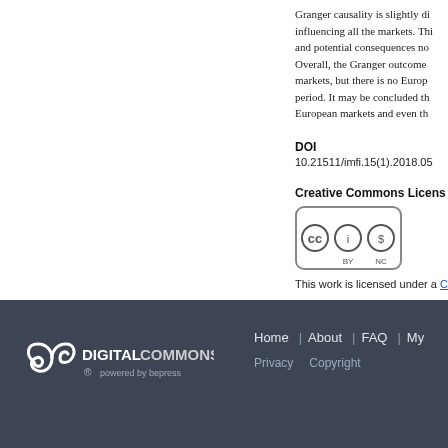Granger causality is slightly... influencing all the markets. This and potential consequences no Overall, the Granger outcome markets, but there is no Europe period. It may be concluded th European markets and even th
DOI
10.21511/imfi.15(1).2018.05
Creative Commons License
[Figure (logo): Creative Commons BY-NC license badge]
This work is licensed under a C...
DIGITAL COMMONS powered by bepress | Home | About | FAQ | My... | Privacy | Copyright